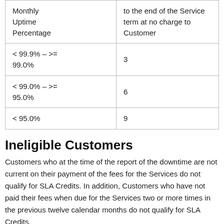| Monthly Uptime Percentage |  |
| --- | --- |
| < 99.9% – >= 99.0% | 3 |
| < 99.0% – >= 95.0% | 6 |
| < 95.0% | 9 |
Ineligible Customers
Customers who at the time of the report of the downtime are not current on their payment of the fees for the Services do not qualify for SLA Credits. In addition, Customers who have not paid their fees when due for the Services two or more times in the previous twelve calendar months do not qualify for SLA Credits.